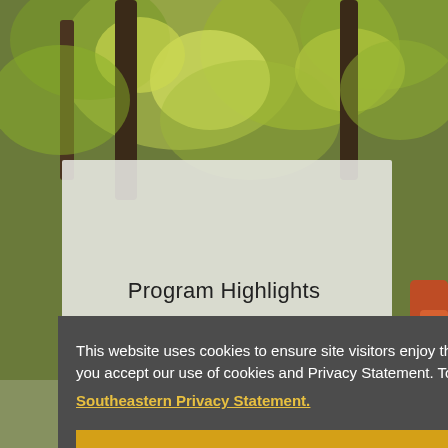[Figure (photo): Outdoor background photo showing green leafy trees with dappled sunlight, and children/objects partially visible at the right edge.]
Program Highlights
This website uses cookies to ensure site visitors enjoy the best experience. By continuing to use this site, you accept our use of cookies and Privacy Statement. To learn more, please visit
Southeastern Privacy Statement.
I agree
not completed the Child Life Practicum